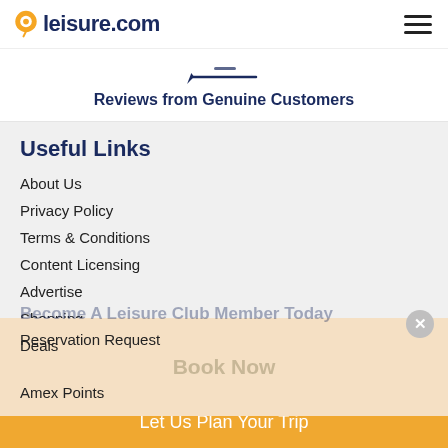leisure.com
[Figure (illustration): Pencil icon with a line, representing reviews/writing]
Reviews from Genuine Customers
Useful Links
About Us
Privacy Policy
Terms & Conditions
Content Licensing
Advertise
Shopping
Become A Leisure Club Member Today
Deals
Reservation Request
Book Now
Amex Points
Let Us Plan Your Trip